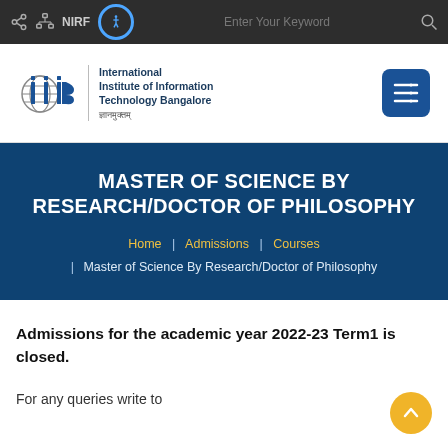NIRF | Enter Your Keyword
[Figure (logo): IIIT Bangalore logo with globe icon and text: International Institute of Information Technology Bangalore]
MASTER OF SCIENCE BY RESEARCH/DOCTOR OF PHILOSOPHY
Home | Admissions | Courses | Master of Science By Research/Doctor of Philosophy
Admissions for the academic year 2022-23 Term1 is closed.
For any queries write to